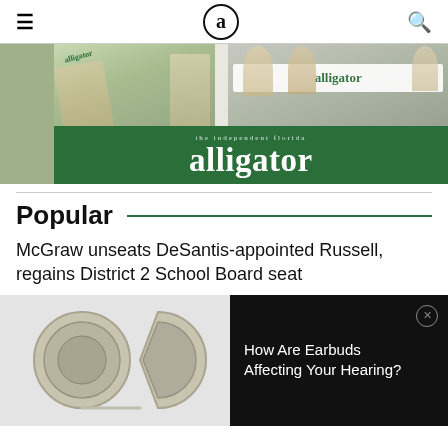alligator (navigation bar with hamburger menu and search icon)
[Figure (photo): The Independent Florida Alligator newspaper banner image with students holding newspaper, overlaid with green bar reading 'the independent florida alligator' in large serif font]
Popular
McGraw unseats DeSantis-appointed Russell, regains District 2 School Board seat
[Figure (photo): Photo of earbuds/earphones on white background]
[Figure (photo): Advertisement overlay on black background with text 'How Are Earbuds Affecting Your Hearing?' with close button]